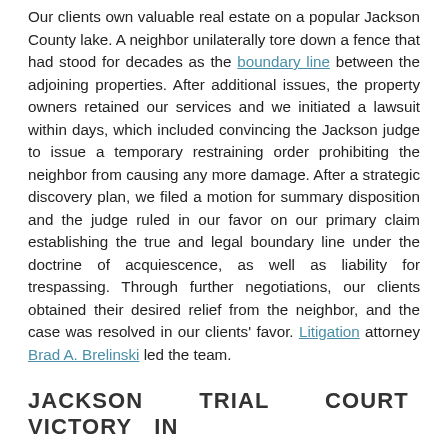Our clients own valuable real estate on a popular Jackson County lake. A neighbor unilaterally tore down a fence that had stood for decades as the boundary line between the adjoining properties. After additional issues, the property owners retained our services and we initiated a lawsuit within days, which included convincing the Jackson judge to issue a temporary restraining order prohibiting the neighbor from causing any more damage. After a strategic discovery plan, we filed a motion for summary disposition and the judge ruled in our favor on our primary claim establishing the true and legal boundary line under the doctrine of acquiescence, as well as liability for trespassing. Through further negotiations, our clients obtained their desired relief from the neighbor, and the case was resolved in our clients' favor. Litigation attorney Brad A. Brelinski led the team.
JACKSON TRIAL COURT VICTORY IN